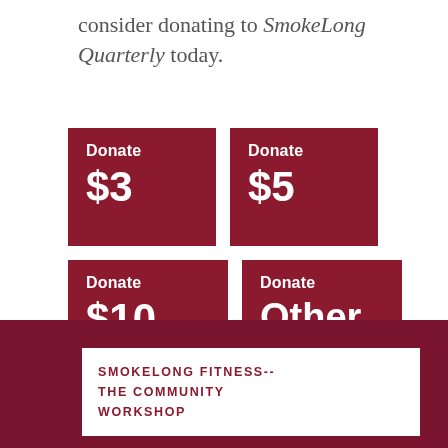consider donating to SmokeLong Quarterly today.
[Figure (infographic): Four dark red donate buttons: Donate $3, Donate $5, Donate $10, Donate Other]
SMOKELONG FITNESS-- THE COMMUNITY WORKSHOP